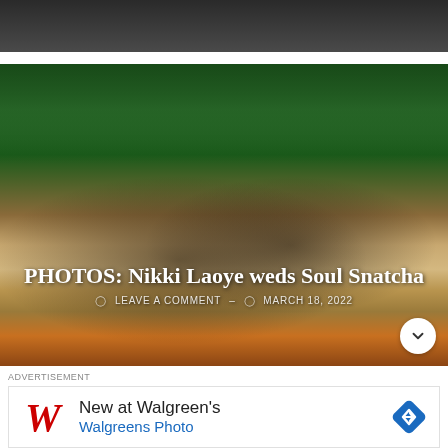[Figure (photo): Top strip of a person's clothing/body, cropped at top of page]
[Figure (photo): Wedding photo of Nikki Laoye and Soul Snatcha in traditional Nigerian attire, seated on a couch with tropical green leaves in background]
PHOTOS: Nikki Laoye weds Soul Snatcha
LEAVE A COMMENT – MARCH 18, 2022
ADVERTISEMENT
[Figure (other): Walgreens advertisement: New at Walgreen's / Walgreens Photo with Walgreens logo and navigation arrow icon]